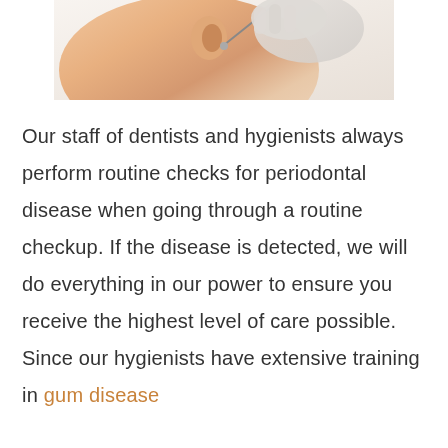[Figure (photo): Close-up photo of a dental examination or procedure, showing a dental instrument near a patient's mouth/ear area with gloved hands visible.]
Our staff of dentists and hygienists always perform routine checks for periodontal disease when going through a routine checkup. If the disease is detected, we will do everything in our power to ensure you receive the highest level of care possible. Since our hygienists have extensive training in gum disease